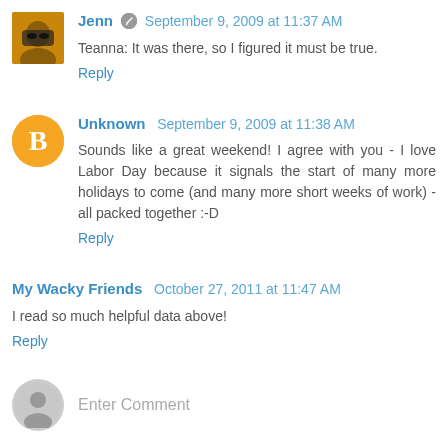Jenn · September 9, 2009 at 11:37 AM
Teanna: It was there, so I figured it must be true.
Reply
Unknown  September 9, 2009 at 11:38 AM
Sounds like a great weekend! I agree with you - I love Labor Day because it signals the start of many more holidays to come (and many more short weeks of work) - all packed together :-D
Reply
My Wacky Friends  October 27, 2011 at 11:47 AM
I read so much helpful data above!
Reply
Enter Comment